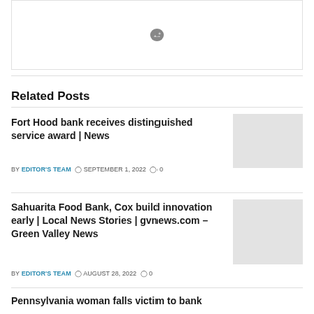[Figure (other): Image placeholder box with broken image icon in center]
Related Posts
Fort Hood bank receives distinguished service award | News
BY EDITOR'S TEAM  SEPTEMBER 1, 2022  0
[Figure (photo): Thumbnail image placeholder for Fort Hood bank article]
Sahuarita Food Bank, Cox build innovation early | Local News Stories | gvnews.com – Green Valley News
BY EDITOR'S TEAM  AUGUST 28, 2022  0
[Figure (photo): Thumbnail image placeholder for Sahuarita Food Bank article]
Pennsylvania woman falls victim to bank